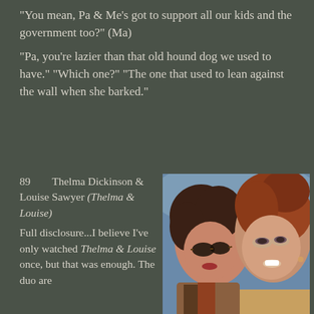“You mean, Pa & Me’s got to support all our kids and the government too?” (Ma)
“Pa, you’re lazier than that old hound dog we used to have.” “Which one?” “The one that used to lean against the wall when she barked.”
89   Thelma Dickinson & Louise Sawyer (Thelma & Louise)
Full disclosure...I believe I’ve only watched Thelma & Louise once, but that was enough. The duo are
[Figure (photo): Photo of two women smiling closely together, one with dark curly hair wearing sunglasses, the other with long reddish-brown hair. From the movie Thelma & Louise.]